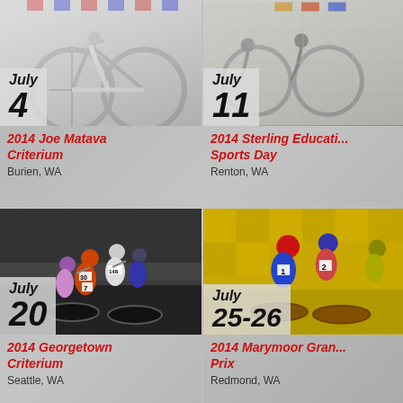[Figure (photo): Cyclist on white road bike, top-left event photo]
July 4
2014 Joe Matava Criterium
Burien, WA
[Figure (photo): Cyclists racing, top-right event photo (partially clipped)]
July 11
2014 Sterling Educational Sports Day
Renton, WA
[Figure (photo): Group of criterium cyclists in tight pack, bottom-left event photo]
July 20
2014 Georgetown Criterium
Seattle, WA
[Figure (photo): Cyclists racing at Marymoor, yellow background, bottom-right event photo]
July 25-26
2014 Marymoor Grand Prix
Redmond, WA